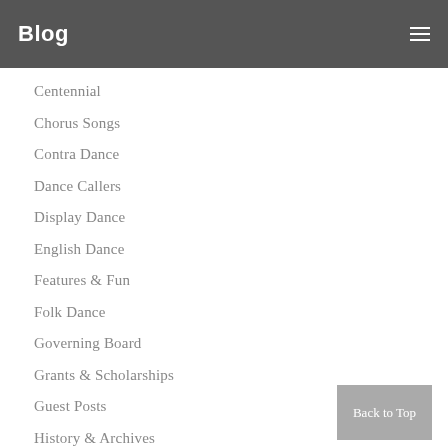Blog
Centennial
Chorus Songs
Contra Dance
Dance Callers
Display Dance
English Dance
Features & Fun
Folk Dance
Governing Board
Grants & Scholarships
Guest Posts
History & Archives
Ideas & Resources
Math
Math & Science
Membership & Development